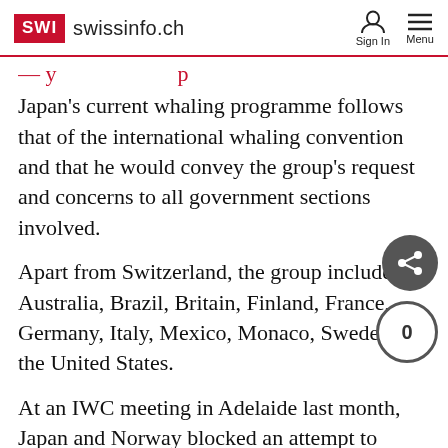SWI swissinfo.ch | Sign In | Menu
Japan's current whaling programme follows that of the international whaling convention and that he would convey the group's request and concerns to all government sections involved.
Apart from Switzerland, the group includes Australia, Brazil, Britain, Finland, France, Germany, Italy, Mexico, Monaco, Sweden and the United States.
At an IWC meeting in Adelaide last month, Japan and Norway blocked an attempt to establish an ocean sanctuary to protect whale